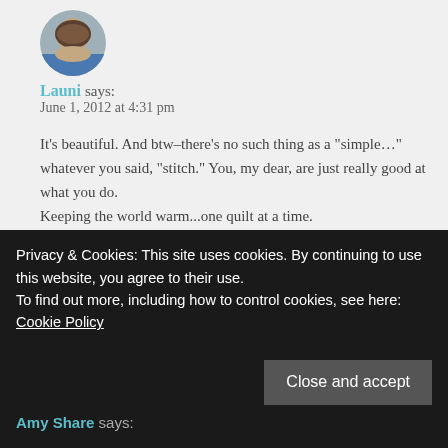[Figure (photo): Circular avatar photo of a woman with dark hair wearing a blue top]
Launi says:
June 1, 2012 at 4:31 pm
It's beautiful. And btw–there's no such thing as a "simple..." whatever you said, "stitch." You, my dear, are just really good at what you do.
Keeping the world warm...one quilt at a time.
:}
↩ Reply
Privacy & Cookies: This site uses cookies. By continuing to use this website, you agree to their use.
To find out more, including how to control cookies, see here: Cookie Policy
Close and accept
Amy Share says: